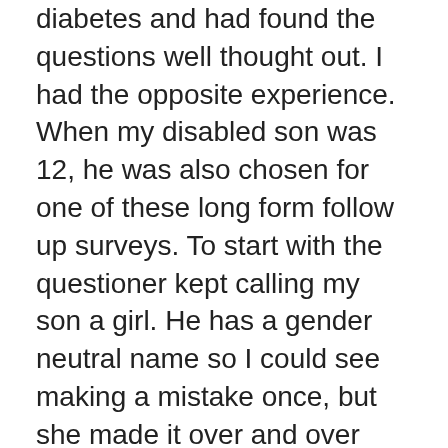diabetes and had found the questions well thought out. I had the opposite experience. When my disabled son was 12, he was also chosen for one of these long form follow up surveys. To start with the questioner kept calling my son a girl. He has a gender neutral name so I could see making a mistake once, but she made it over and over again. But worse the questions were poorly thought out. I was asked if my son's disability interfered with his paid employment. I would answer, "he is 12 years old," only to hear "is that a yes or a no?"